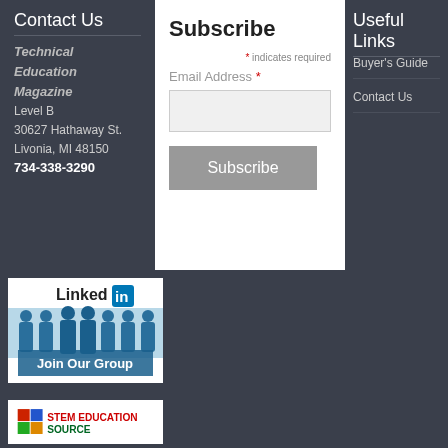Contact Us
Technical Education Magazine
Level B
30627 Hathaway St.
Livonia, MI 48150
734-338-3290
Subscribe
* indicates required
Email Address *
Useful Links
Buyer's Guide
Contact Us
[Figure (illustration): LinkedIn Join Our Group banner with blue silhouette figures]
[Figure (logo): STEM Education Source logo with colored grid icons]